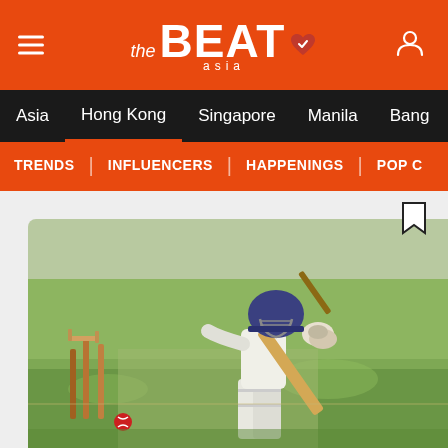the BEAT asia — Navigation: Asia, Hong Kong, Singapore, Manila, Bang... | TRENDS | INFLUENCERS | HAPPENINGS | POP C...
[Figure (photo): Cricket batsman in white uniform and blue helmet swinging a bat, with cricket stumps visible in foreground and a red ball near the ground. Green grass field in background.]